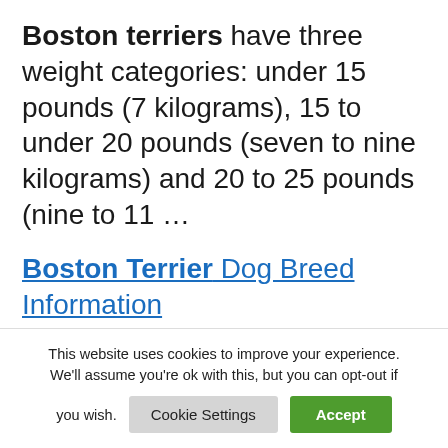Boston terriers have three weight categories: under 15 pounds (7 kilograms), 15 to under 20 pounds (seven to nine kilograms) and 20 to 25 pounds (nine to 11 …
Boston Terrier Dog Breed Information
Dogs should always be supervised for interactions and introductions with other dogs, but some breeds are
This website uses cookies to improve your experience. We'll assume you're ok with this, but you can opt-out if you wish.